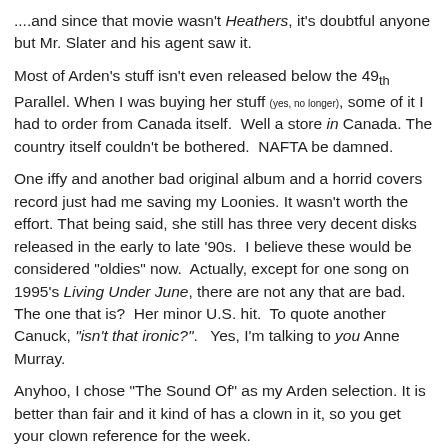....and since that movie wasn't Heathers, it's doubtful anyone but Mr. Slater and his agent saw it.
Most of Arden's stuff isn't even released below the 49th Parallel. When I was buying her stuff (yes, no longer), some of it I had to order from Canada itself.  Well a store in Canada. The country itself couldn't be bothered.  NAFTA be damned.
One iffy and another bad original album and a horrid covers record just had me saving my Loonies. It wasn't worth the effort. That being said, she still has three very decent disks released in the early to late '90s.  I believe these would be considered "oldies" now.  Actually, except for one song on 1995's Living Under June, there are not any that are bad.  The one that is?  Her minor U.S. hit.  To quote another Canuck, "isn't that ironic?".  Yes, I'm talking to you Anne Murray.
Anyhoo, I chose "The Sound Of" as my Arden selection. It is better than fair and it kind of has a clown in it, so you get your clown reference for the week.